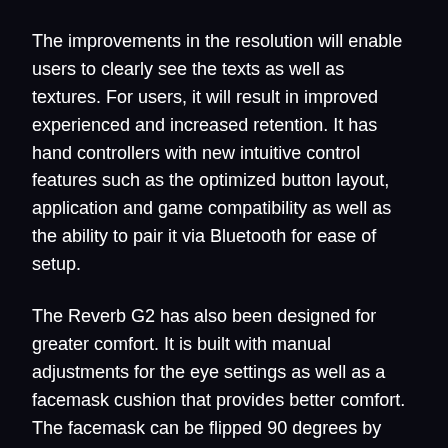The improvements in the resolution will enable users to clearly see the texts as well as textures. For users, it will result in improved experienced and increased retention. It has hand controllers with new intuitive control features such as the optimized button layout, application and game compatibility as well as the ability to pair it via Bluetooth for ease of setup.
The Reverb G2 has also been designed for greater comfort. It is built with manual adjustments for the eye settings as well as a facemask cushion that provides better comfort. The facemask can be flipped 90 degrees by moving it back and forth from the virtual world to the real world. The Reverb G2 also features better comfort and weight distribution enabling you to enjoy longer VR sessions. The headset connects to a PC through a single